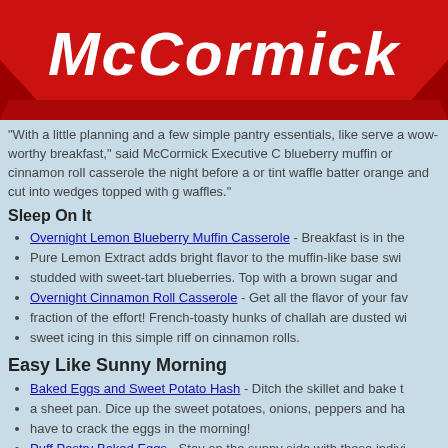[Figure (logo): McCormick brand logo on red ribbon/banner background]
"With a little planning and a few simple pantry essentials, like serve a wow-worthy breakfast," said McCormick Executive C blueberry muffin or cinnamon roll casserole the night before a or tint waffle batter orange and cut into wedges topped with g waffles."
Sleep On It
Overnight Lemon Blueberry Muffin Casserole - Breakfast is in the
Pure Lemon Extract adds bright flavor to the muffin-like base swi
studded with sweet-tart blueberries. Top with a brown sugar and
Overnight Cinnamon Roll Casserole - Get all the flavor of your fav
fraction of the effort! French-toasty hunks of challah are dusted wi
sweet icing in this simple riff on cinnamon rolls.
Easy Like Sunny Morning
Baked Eggs and Sweet Potato Hash - Ditch the skillet and bake t
a sheet pan. Dice up the sweet potatoes, onions, peppers and ha
have to crack the eggs in the morning!
Puff Pastry Baked Eggs - Stay on the sunny side with these indivi